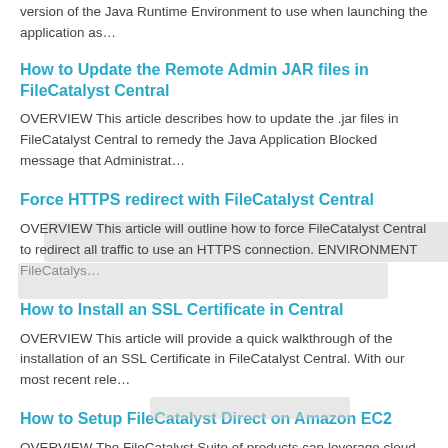version of the Java Runtime Environment to use when launching the application as…
How to Update the Remote Admin JAR files in FileCatalyst Central
OVERVIEW This article describes how to update the .jar files in FileCatalyst Central to remedy the Java Application Blocked message that Administrat…
Force HTTPS redirect with FileCatalyst Central
OVERVIEW This article will outline how to force FileCatalyst Central to redirect all traffic to use an HTTPS connection. ENVIRONMENT FileCatalys…
How to Install an SSL Certificate in Central
OVERVIEW This article will provide a quick walkthrough of the installation of an SSL Certificate in FileCatalyst Central. With our most recent rele…
How to Setup FileCatalyst Direct on Amazon EC2
OVERVIEW The FileCatalyst Suite of products can leverage cloud